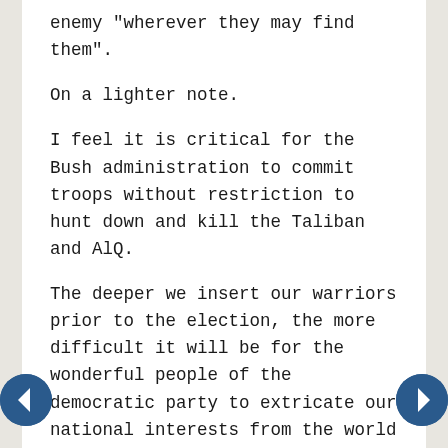enemy "wherever they may find them".
On a lighter note.
I feel it is critical for the Bush administration to commit troops without restriction to hunt down and kill the Taliban and AlQ.
The deeper we insert our warriors prior to the election, the more difficult it will be for the wonderful people of the democratic party to extricate our national interests from the world stage and invite death and destruction on my dear